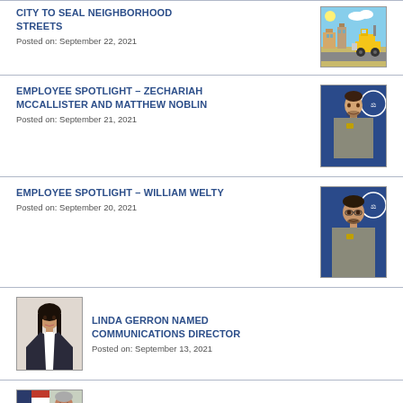CITY TO SEAL NEIGHBORHOOD STREETS
Posted on: September 22, 2021
[Figure (illustration): Illustration of construction vehicles and buildings on a street]
EMPLOYEE SPOTLIGHT – ZECHARIAH MCCALLISTER AND MATTHEW NOBLIN
Posted on: September 21, 2021
[Figure (photo): Photo of a uniformed officer standing in front of a city seal banner]
EMPLOYEE SPOTLIGHT – WILLIAM WELTY
Posted on: September 20, 2021
[Figure (photo): Photo of a uniformed officer standing in front of a city seal banner]
[Figure (photo): Photo of Linda Gerron, a woman in professional attire]
LINDA GERRON NAMED COMMUNICATIONS DIRECTOR
Posted on: September 13, 2021
[Figure (photo): Photo of a man in a suit, the mayor]
MAYOR'S MESSAGE: REMEMBERING 9/11
Posted on: September 10, 2021